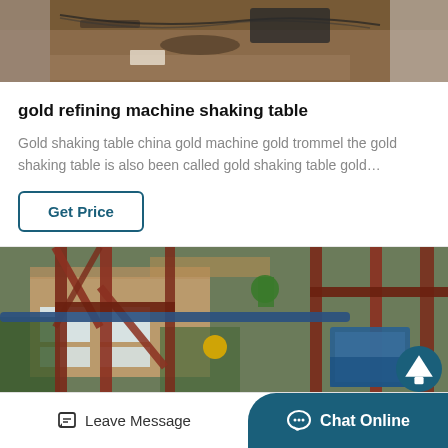[Figure (photo): Industrial/construction site scene with equipment, wires, and sandy ground visible from above]
gold refining machine shaking table
Gold shaking table china gold machine gold trommel the gold shaking table is also been called gold shaking table gold…
Get Price
[Figure (photo): Outdoor industrial mining/processing equipment with red metal structures, blue machinery, brick building in background]
Leave Message
Chat Online